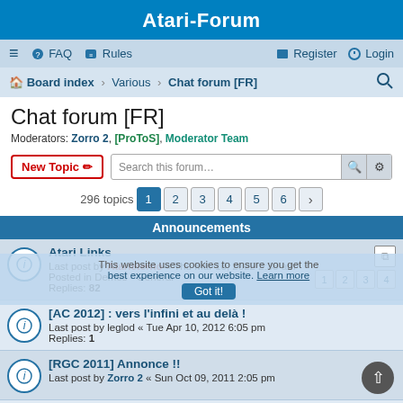Atari-Forum
≡  FAQ  Rules  Register  Login
Board index · Various · Chat forum [FR]
Chat forum [FR]
Moderators: Zorro 2, [ProToS], Moderator Team
New Topic  Search this forum…  296 topics  1 2 3 4 5 6 >
Announcements
Atari Links
Last post by Atarieterno « Thu Mar 10, 2022 2:38 am
Posted in Demos - General
Replies: 82
[AC 2012] : vers l'infini et au delà !
Last post by leglod « Tue Apr 10, 2012 6:05 pm
Replies: 1
[RGC 2011] Annonce !!
Last post by Zorro 2 « Sun Oct 09, 2011 2:05 pm
Alchimie 2k11 du 11 au 13 novembre 2011